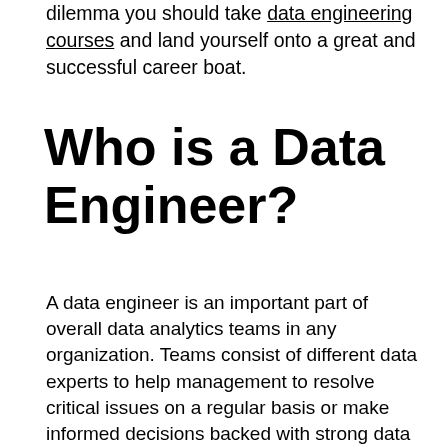dilemma you should take data engineering courses and land yourself onto a great and successful career boat.
Who is a Data Engineer?
A data engineer is an important part of overall data analytics teams in any organization. Teams consist of different data experts to help management to resolve critical issues on a regular basis or make informed decisions backed with strong data analytics. Data engineers usually work in tandem with other data experts to achieve common goals of transforming data into handy insights. It is a vital role in the data analytics team as other data experts depend on the work of data engineers.